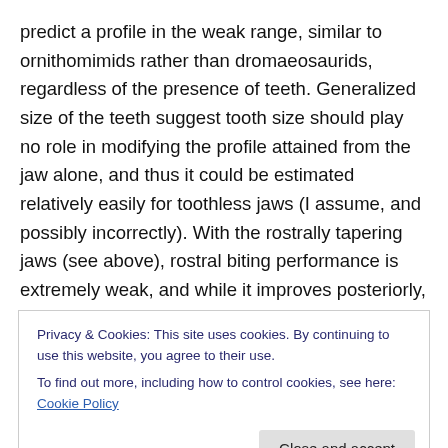predict a profile in the weak range, similar to ornithomimids rather than dromaeosaurids, regardless of the presence of teeth. Generalized size of the teeth suggest tooth size should play no role in modifying the profile attained from the jaw alone, and thus it could be estimated relatively easily for toothless jaws (I assume, and possibly incorrectly). With the rostrally tapering jaws (see above), rostral biting performance is extremely weak, and while it improves posteriorly, it should not be any stronger than the profile attained for a generalized dromaeosaurid. This suggests that, regardless of the
Privacy & Cookies: This site uses cookies. By continuing to use this website, you agree to their use.
To find out more, including how to control cookies, see here: Cookie Policy
dromaeosaurids. Moreover, the different orientation of